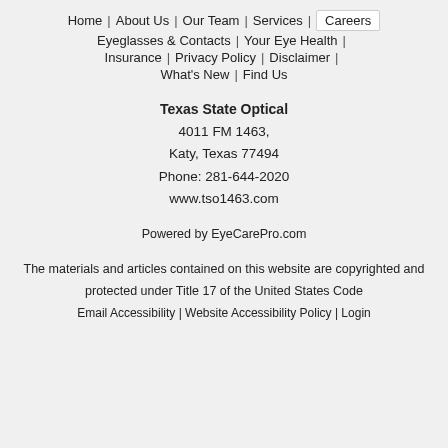Home | About Us | Our Team | Services | Careers | Eyeglasses & Contacts | Your Eye Health | Insurance | Privacy Policy | Disclaimer | What's New | Find Us
Texas State Optical
4011 FM 1463,
Katy, Texas 77494
Phone: 281-644-2020
www.tso1463.com
Powered by EyeCarePro.com
The materials and articles contained on this website are copyrighted and protected under Title 17 of the United States Code
Email Accessibility | Website Accessibility Policy | Login